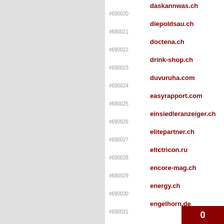#690020 daskannwas.ch
#690021 diepoldsau.ch
#690022 doctena.ch
#690023 drink-shop.ch
#690024 duvuruha.com
#690025 easyrapport.com
#690026 einsiedleranzeiger.ch
#690027 elitepartner.ch
#690028 eltctricon.ru
#690029 encore-mag.ch
#690030 energy.ch
#690031 engelhorn.de
0